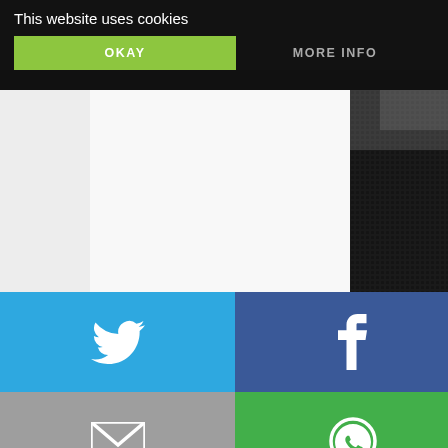This website uses cookies
OKAY
MORE INFO
[Figure (screenshot): Background photo of dark textured mesh/screen material with dark overlay]
[Figure (infographic): Social sharing tiles grid: Twitter (blue), Facebook (dark blue), Email (gray), WhatsApp (green), SMS (blue), and another icon (blue)]